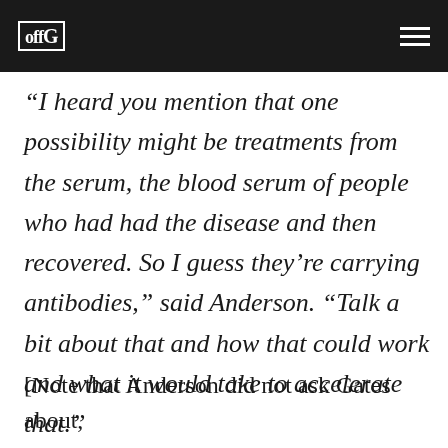offG [logo]
“I heard you mention that one possibility might be treatments from the serum, the blood serum of people who had had the disease and then recovered. So I guess they’re carrying antibodies,” said Anderson. “Talk a bit about that and how that could work and what it would take to accelerate that.”
[Note that Anderson did not ask Gates about,